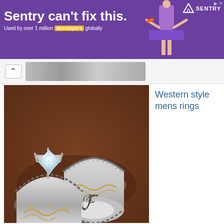[Figure (other): Sentry advertisement banner with purple background. Headline: 'Sentry can't fix this.' Subtext: 'Used by over 1 million developers globally'. Sentry logo on the right with illustrated figure.]
[Figure (photo): Photo of two western style silver and gold rings on a brown leather background. One ring has a large diamond solitaire setting, both rings have twisted rope-style band edges with gold scroll decorations. Decorative script letter F at bottom.]
Western style mens rings